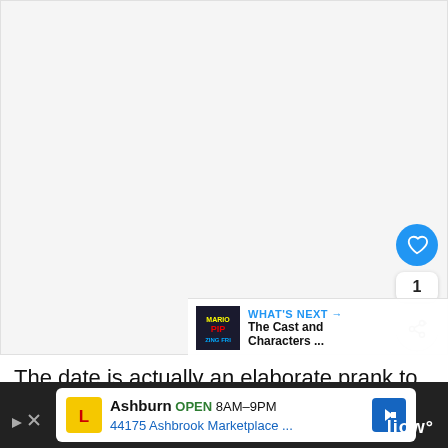[Figure (screenshot): Large blank/white content area representing a video or image media area]
[Figure (screenshot): Like button (heart icon, blue circle), like count showing '1', and share button]
[Figure (screenshot): What's Next bar showing a PIP Zing Fri logo thumbnail and text 'WHAT'S NEXT → The Cast and Characters ...']
The date is actually an elaborate prank to
[Figure (screenshot): Advertisement bar: Ashburn OPEN 8AM-9PM 44175 Ashbrook Marketplace ... with Lidl logo and navigation arrow]
liow°